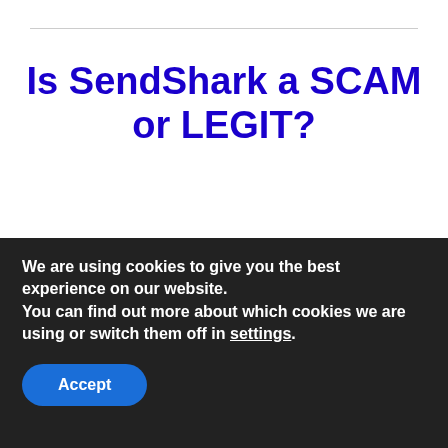Is SendShark a SCAM or LEGIT?
SendShark is not a scam but a very legitimate autoresponder that you could benefit from considerably
[Figure (illustration): 3D white stick figure character standing with arms outstretched, flanked by a green checkmark on the left and a red X on the right]
We are using cookies to give you the best experience on our website.
You can find out more about which cookies we are using or switch them off in settings.
Accept